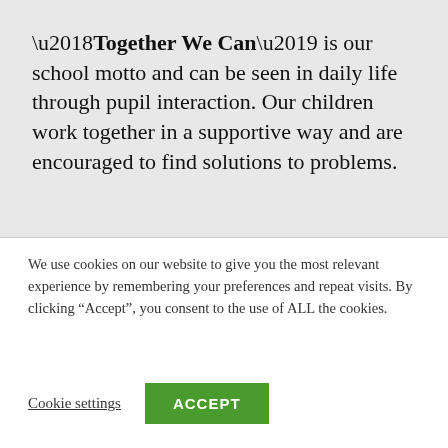'Together We Can' is our school motto and can be seen in daily life through pupil interaction. Our children work together in a supportive way and are encouraged to find solutions to problems.
This empowers them with critical thinking skills and the social and emotional skills
We use cookies on our website to give you the most relevant experience by remembering your preferences and repeat visits. By clicking “Accept”, you consent to the use of ALL the cookies.
Cookie settings | ACCEPT